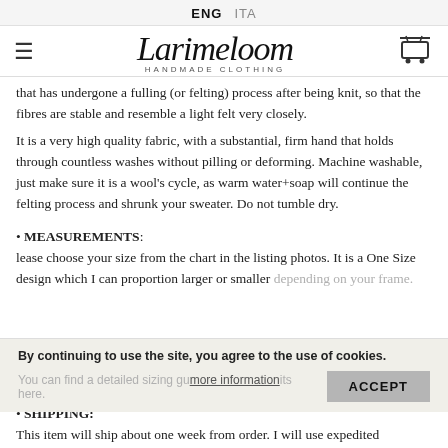ENG  ITA
[Figure (logo): Larimeloom Handmade Clothing logo with hamburger menu and cart icon]
that has undergone a fulling (or felting) process after being knit, so that the fibres are stable and resemble a light felt very closely.
It is a very high quality fabric, with a substantial, firm hand that holds through countless washes without pilling or deforming. Machine washable, just make sure it is a wool's cycle, as warm water+soap will continue the felting process and shrunk your sweater. Do not tumble dry.
• MEASUREMENTS: lease choose your size from the chart in the listing photos. It is a One Size design which I can proportion larger or smaller depending on your frame.
You can find a detailed sizing guide with all its here.
By continuing to use the site, you agree to the use of cookies.
• SHIPPING:
This item will ship about one week from order. I will use expedited